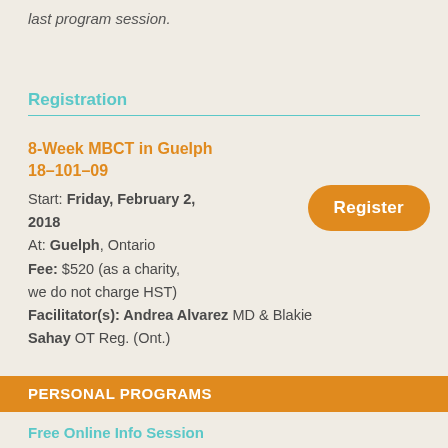last program session.
Registration
8-Week MBCT in Guelph 18–101–09
Start: Friday, February 2, 2018
At: Guelph, Ontario
Fee: $520 (as a charity, we do not charge HST)
Facilitator(s): Andrea Alvarez MD & Blakie Sahay OT Reg. (Ont.)
Register
PERSONAL PROGRAMS
Free Online Info Session